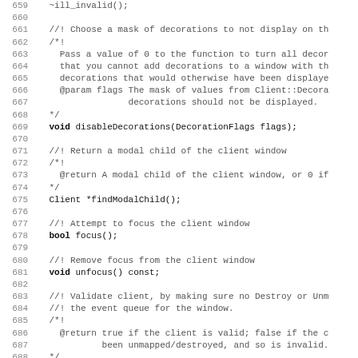Source code listing lines 659-691, C++ header file with documentation comments and method declarations for a Client window class.